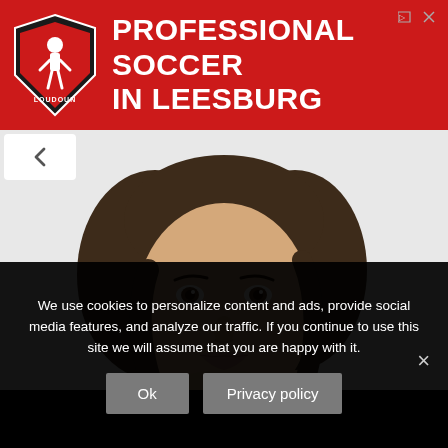[Figure (infographic): Red banner advertisement for Loudoun soccer club with shield logo on left and bold white text reading PROFESSIONAL SOCCER IN LEESBURG. Small close/ad indicator icons in top right.]
[Figure (photo): Close-up portrait photo of a young woman with medium-length wavy dark brown hair, light skin, and brown eyes, looking directly at the camera against a white background.]
We use cookies to personalize content and ads, provide social media features, and analyze our traffic. If you continue to use this site we will assume that you are happy with it.
Ok
Privacy policy